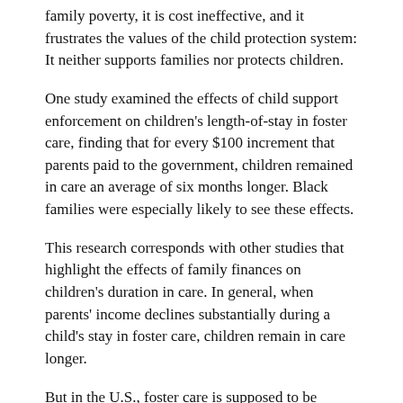family poverty, it is cost ineffective, and it frustrates the values of the child protection system: It neither supports families nor protects children.
One study examined the effects of child support enforcement on children's length-of-stay in foster care, finding that for every $100 increment that parents paid to the government, children remained in care an average of six months longer. Black families were especially likely to see these effects.
This research corresponds with other studies that highlight the effects of family finances on children's duration in care. In general, when parents' income declines substantially during a child's stay in foster care, children remain in care longer.
But in the U.S., foster care is supposed to be temporary.  The median length of stay is about 13 months, and both policy and practice emphasize timely reunification. Child support enforcement thwarts these efforts.
One cruel facet of the policy is that it targets the lowest-income parents. Some states apply the law to all parents with children in foster care, but the federal law only requires states to target low-income families since the federal government only pays for foster